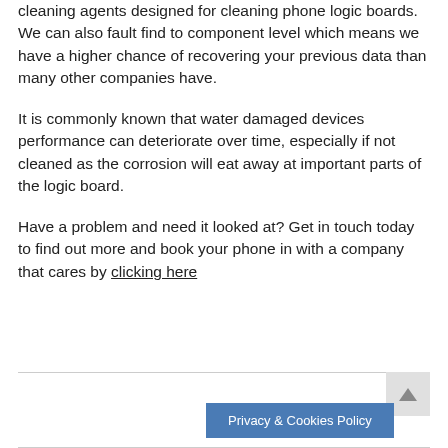cleaning agents designed for cleaning phone logic boards. We can also fault find to component level which means we have a higher chance of recovering your previous data than many other companies have.
It is commonly known that water damaged devices performance can deteriorate over time, especially if not cleaned as the corrosion will eat away at important parts of the logic board.
Have a problem and need it looked at? Get in touch today to find out more and book your phone in with a company that cares by clicking here
Privacy & Cookies Policy